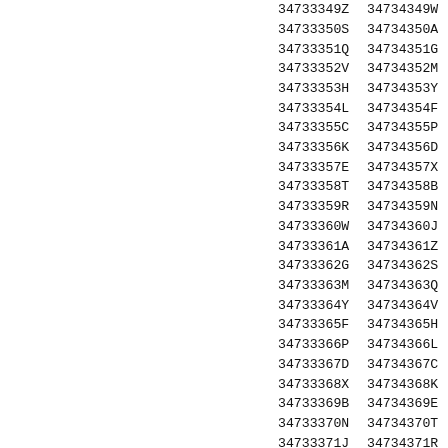| 34733349Z | 34734349W |
| 34733350S | 34734350A |
| 34733351Q | 34734351G |
| 34733352V | 34734352M |
| 34733353H | 34734353Y |
| 34733354L | 34734354F |
| 34733355C | 34734355P |
| 34733356K | 34734356D |
| 34733357E | 34734357X |
| 34733358T | 34734358B |
| 34733359R | 34734359N |
| 34733360W | 34734360J |
| 34733361A | 34734361Z |
| 34733362G | 34734362S |
| 34733363M | 34734363Q |
| 34733364Y | 34734364V |
| 34733365F | 34734365H |
| 34733366P | 34734366L |
| 34733367D | 34734367C |
| 34733368X | 34734368K |
| 34733369B | 34734369E |
| 34733370N | 34734370T |
| 34733371J | 34734371R |
| 34733372Z | 34734372W |
| 34733373S | 34734373A |
| 34733374Q | 34734374G |
| 34733375V | 34734375M |
| 34733376H | 34734376Y |
| 34733377L | 34734377F |
| 34733378C | 34734378P |